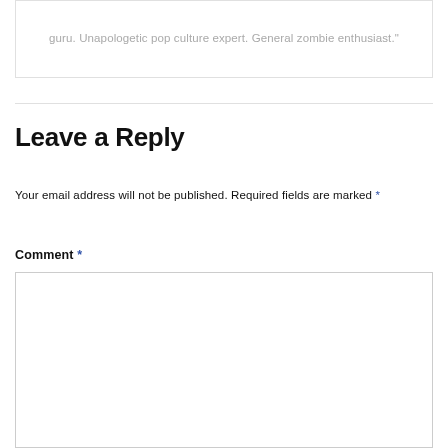guru. Unapologetic pop culture expert. General zombie enthusiast."
Leave a Reply
Your email address will not be published. Required fields are marked *
Comment *